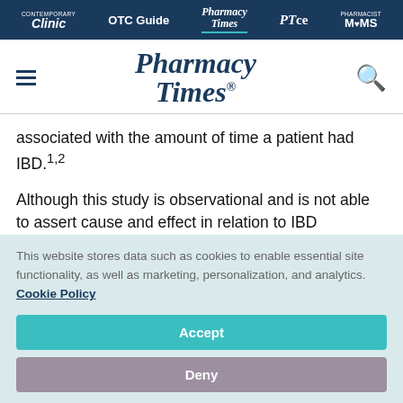Clinic | OTC Guide | Pharmacy Times | PTce | Pharmacist MOMS
[Figure (logo): Pharmacy Times logo with hamburger menu and search icon]
associated with the amount of time a patient had IBD.1,2
Although this study is observational and is not able to assert cause and effect in relation to IBD
This website stores data such as cookies to enable essential site functionality, as well as marketing, personalization, and analytics. Cookie Policy
Accept
Deny